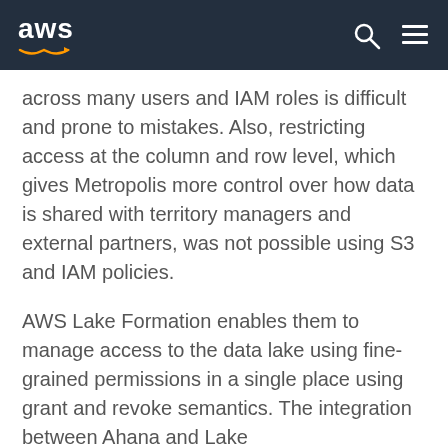aws
across many users and IAM roles is difficult and prone to mistakes. Also, restricting access at the column and row level, which gives Metropolis more control over how data is shared with territory managers and external partners, was not possible using S3 and IAM policies.
AWS Lake Formation enables them to manage access to the data lake using fine-grained permissions in a single place using grant and revoke semantics. The integration between Ahana and Lake